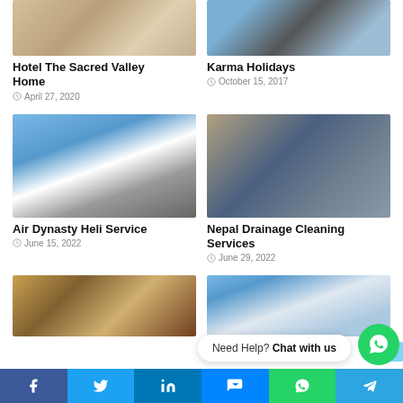[Figure (photo): Hotel bedroom with pillows and carpet]
Hotel The Sacred Valley Home
April 27, 2020
[Figure (photo): Person standing near helicopter outdoors]
Karma Holidays
October 15, 2017
[Figure (photo): Helicopter on ground with snowy mountains in background]
Air Dynasty Heli Service
June 15, 2022
[Figure (photo): Drainage cleaning machinery on a street]
Nepal Drainage Cleaning Services
June 29, 2022
[Figure (photo): Dream Nepal Tours hotel interior with staff]
[Figure (photo): Tours and Travel mountain scenery]
Need Help? Chat with us